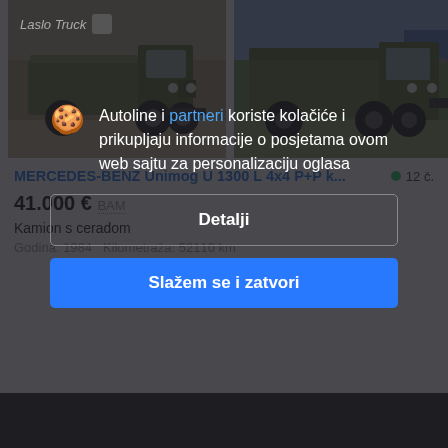[Figure (photo): Two military olive-green Mercedes-Benz Unimog U1300 trucks side by side, parked outdoors]
MERCEDES-BENZ Unimog U 1300 L 4x4 P+P k...
● 12 č.
41.000 €  BAM
Kamion s ceradom
Godina: 1984  Kilometraža: 52110 km
Autoline i partneri koriste kolačiće i prikupljaju informacije o posjetama ovom web sajtu za personalizaciju oglasa
Laslo Truck
Detalji
Slažem se i zatvori